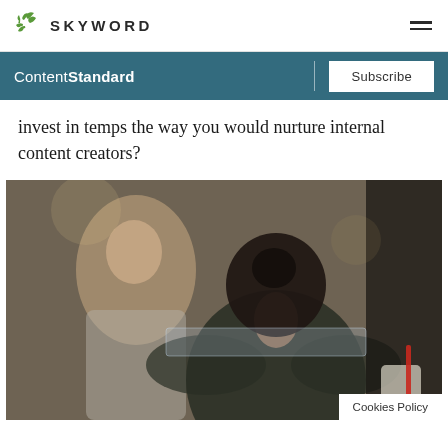SKYWORD
ContentStandard | Subscribe
invest in temps the way you would nurture internal content creators?
[Figure (photo): Two people in a cafe setting, one facing away with dark hair in a bun, the other a man in the background; a drink with a red straw is visible in the lower right.]
Cookies Policy